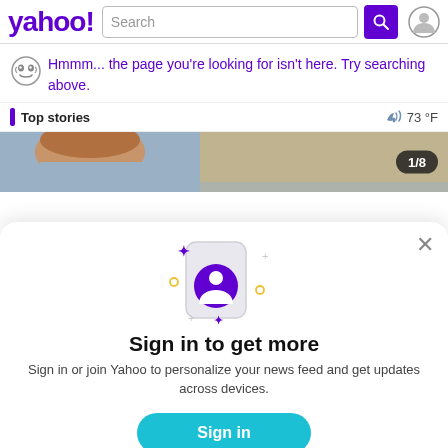yahoo! Search
Hmmm... the page you're looking for isn't here. Try searching above.
Top stories  73 °F
[Figure (photo): News image strip showing a person with reddish hair, partially visible. Badge shows '1/8'.]
[Figure (illustration): Sign-in modal with phone illustration showing a user avatar icon with sparkle decorations around it.]
Sign in to get more
Sign in or join Yahoo to personalize your news feed and get updates across devices.
Sign in
Sign up